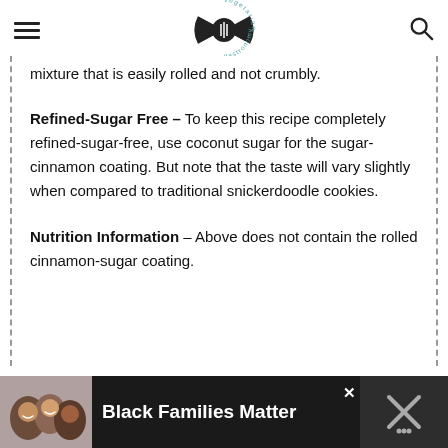vegetarian gastronomy
mixture that is easily rolled and not crumbly.
Refined-Sugar Free – To keep this recipe completely refined-sugar-free, use coconut sugar for the sugar-cinnamon coating. But note that the taste will vary slightly when compared to traditional snickerdoodle cookies.
Nutrition Information – Above does not contain the rolled cinnamon-sugar coating.
[Figure (other): Advertisement banner: Black Families Matter with photo of smiling family]